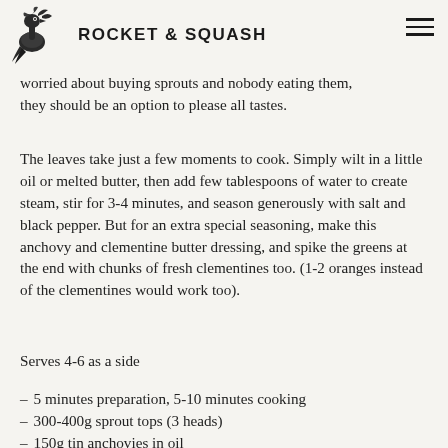ROCKET & SQUASH
availability. This is a good thing: to my mind they're as bountifully green fare, they're easy to cook, and if you're worried about buying sprouts and nobody eating them, they should be an option to please all tastes.
The leaves take just a few moments to cook. Simply wilt in a little oil or melted butter, then add few tablespoons of water to create steam, stir for 3-4 minutes, and season generously with salt and black pepper. But for an extra special seasoning, make this anchovy and clementine butter dressing, and spike the greens at the end with chunks of fresh clementines too. (1-2 oranges instead of the clementines would work too).
Serves 4-6 as a side
5 minutes preparation, 5-10 minutes cooking
300-400g sprout tops (3 heads)
150g tin anchovies in oil